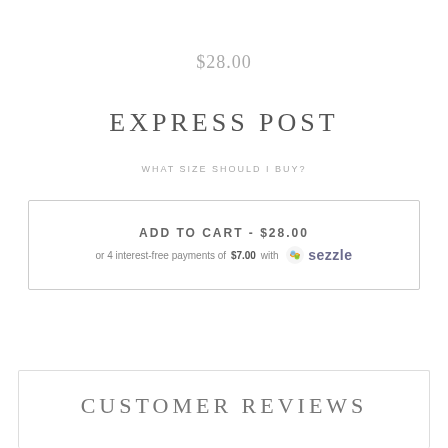$28.00
EXPRESS POST
WHAT SIZE SHOULD I BUY?
ADD TO CART - $28.00
or 4 interest-free payments of $7.00 with Sezzle
CUSTOMER REVIEWS